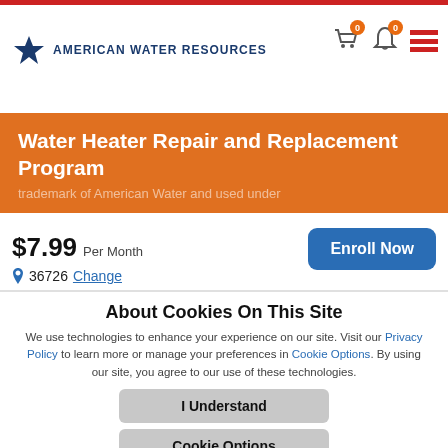American Water Resources
Water Heater Repair and Replacement Program
$7.99 Per Month
36726 Change
proud of our A+ rating from the Better Business Bureau and 90% approval rating from our customer claim satisfaction surveys.
About Cookies On This Site
We use technologies to enhance your experience on our site. Visit our Privacy Policy to learn more or manage your preferences in Cookie Options. By using our site, you agree to our use of these technologies.
I Understand
Cookie Options